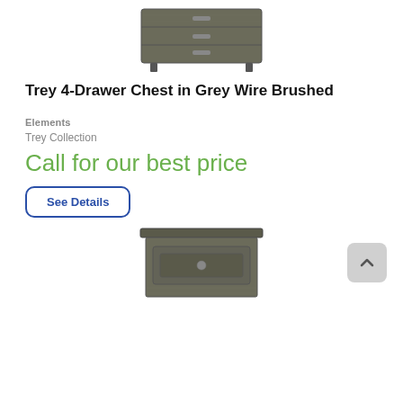[Figure (photo): Top portion of a grey wire brushed 4-drawer chest furniture product photo, cropped at top]
Trey 4-Drawer Chest in Grey Wire Brushed
Elements
Trey Collection
Call for our best price
See Details
[Figure (photo): Bottom portion of a grey wire brushed nightstand furniture product photo, cropped at bottom]